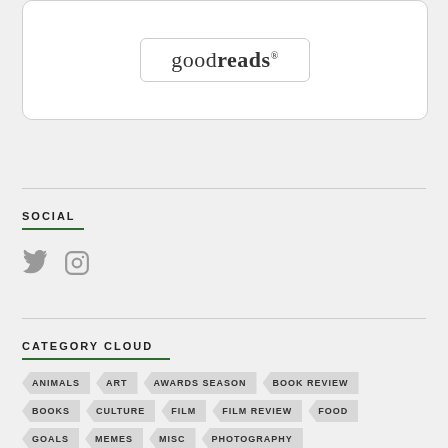[Figure (logo): Goodreads logo inside a rounded rectangle box with border]
SOCIAL
[Figure (infographic): Twitter and Instagram social media icons in gray]
CATEGORY CLOUD
ANIMALS
ART
AWARDS SEASON
BOOK REVIEW
BOOKS
CULTURE
FILM
FILM REVIEW
FOOD
GOALS
MEMES
MISC
PHOTOGRAPHY